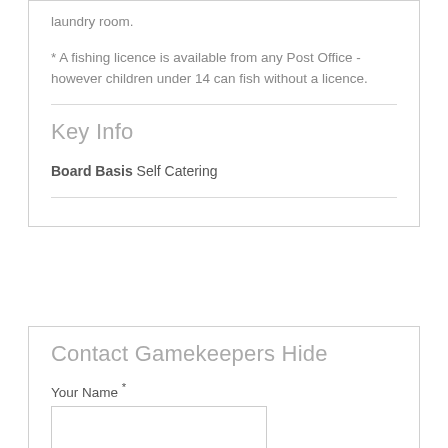laundry room.
* A fishing licence is available from any Post Office - however children under 14 can fish without a licence.
Key Info
Board Basis Self Catering
Contact Gamekeepers Hide
Your Name *